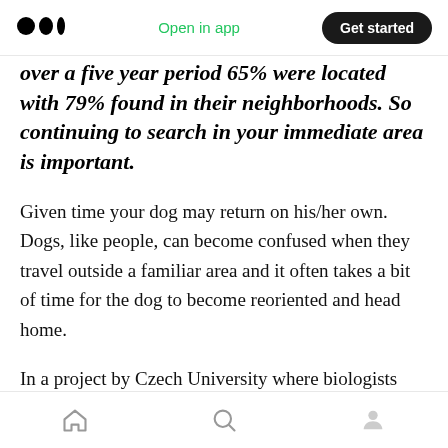Open in app | Get started
over a five year period 65% were located with 79% found in their neighborhoods. So continuing to search in your immediate area is important.
Given time your dog may return on his/her own. Dogs, like people, can become confused when they travel outside a familiar area and it often takes a bit of time for the dog to become reoriented and head home.
In a project by Czech University where biologists studied how dogs find their way home, they
Home | Search | Profile